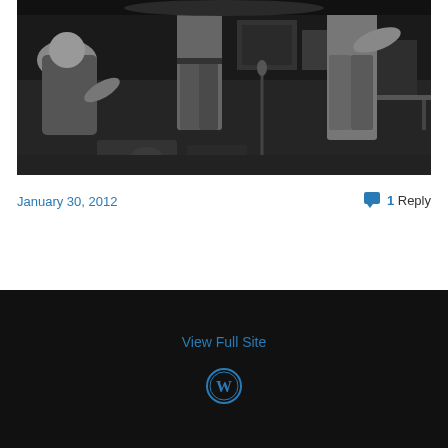[Figure (photo): Black and white concert/band photo showing musicians on stage with equipment, shot from a low angle]
January 30, 2012
1 Reply
View Full Site